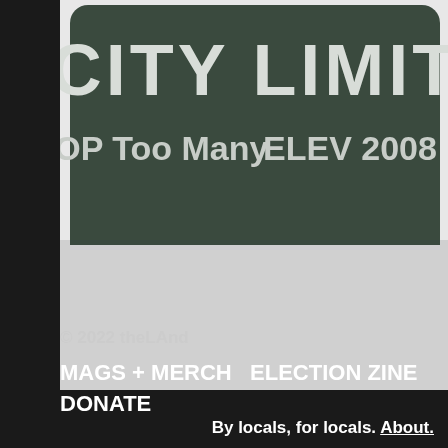[Figure (photo): Photo of a city limit sign with dark green background and white text reading 'CITY LIMIT' at the top, 'POP Too Many' on the left, and 'ELEV 2008' on the right.]
© 2022 theLAnd
MAGS + MERCH  ELECTION ZINE  DONATE
By locals, for locals. About.